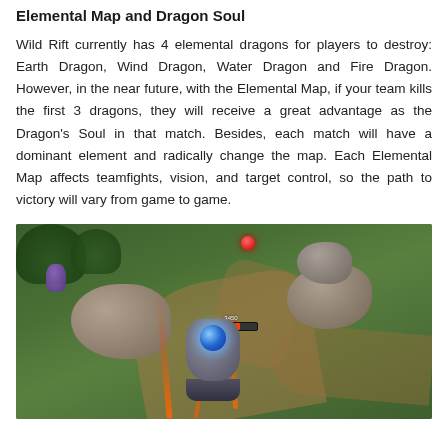Elemental Map and Dragon Soul
Wild Rift currently has 4 elemental dragons for players to destroy: Earth Dragon, Wind Dragon, Water Dragon and Fire Dragon. However, in the near future, with the Elemental Map, if your team kills the first 3 dragons, they will receive a great advantage as the Dragon's Soul in that match. Besides, each match will have a dominant element and radically change the map. Each Elemental Map affects teamfights, vision, and target control, so the path to victory will vary from game to game.
[Figure (screenshot): In-game screenshot from Wild Rift showing a game map with a robotic character with a glowing blue orb on its body, surrounded by rocks and lava streaks, with an HP bar visible above the character.]